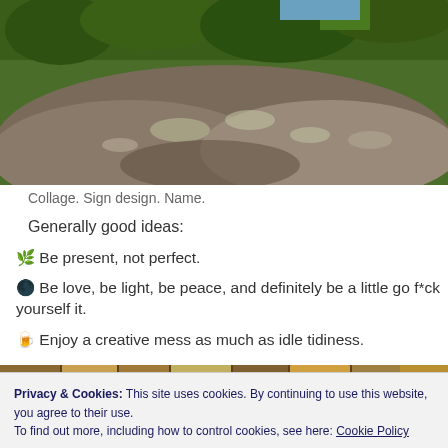[Figure (photo): Outdoor photo showing a large rock formation with lichen, surrounded by lush green trees and foliage in the background.]
Collage. Sign design. Name.
Generally good ideas:
🌿 Be present, not perfect.
🌑 Be love, be light, be peace, and definitely be a little go f*ck yourself it.
🍺 Enjoy a creative mess as much as idle tidiness.
[Figure (photo): A collage-style horizontal strip of colorful market or craft items.]
Privacy & Cookies: This site uses cookies. By continuing to use this website, you agree to their use.
To find out more, including how to control cookies, see here: Cookie Policy
Close and accept